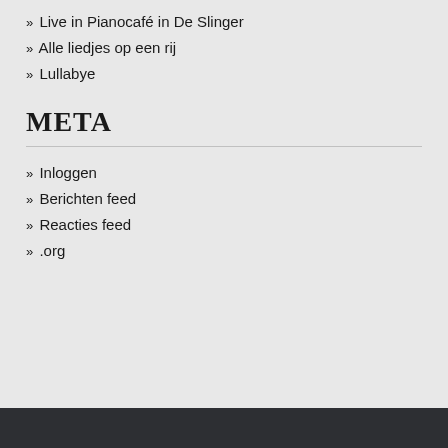» Live in Pianocafé in De Slinger
» Alle liedjes op een rij
» Lullabye
META
» Inloggen
» Berichten feed
» Reacties feed
» .org